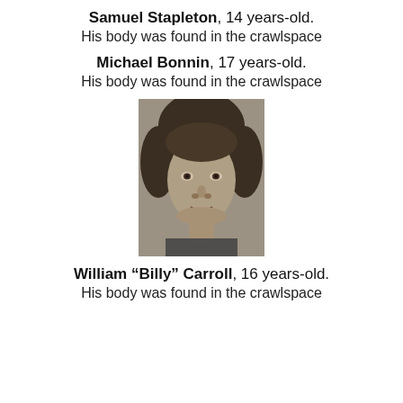Samuel Stapleton, 14 years-old. His body was found in the crawlspace
Michael Bonnin, 17 years-old. His body was found in the crawlspace
[Figure (photo): Black and white portrait photo of a young male teenager with medium-length hair]
William "Billy" Carroll, 16 years-old. His body was found in the crawlspace